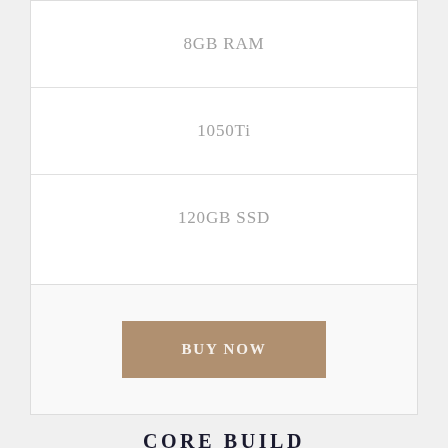8GB RAM
1050Ti
120GB SSD
BUY NOW
CORE BUILD
$1800 per month